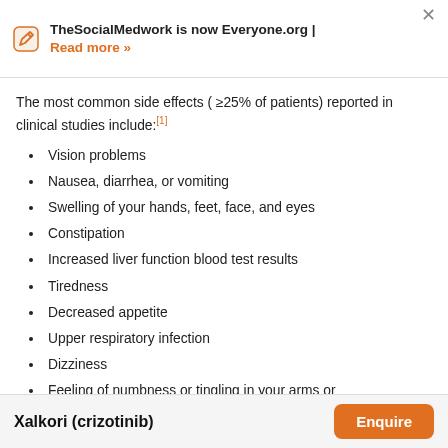TheSocialMedwork is now Everyone.org | Read more »
The most common side effects ( ≥25% of patients) reported in clinical studies include:[1]
Vision problems
Nausea, diarrhea, or vomiting
Swelling of your hands, feet, face, and eyes
Constipation
Increased liver function blood test results
Tiredness
Decreased appetite
Upper respiratory infection
Dizziness
Feeling of numbness or tingling in your arms or
Xalkori (crizotinib) Enquire